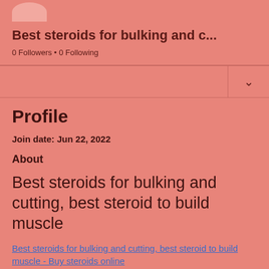[Figure (illustration): Partial avatar/profile picture circle at top of page]
Best steroids for bulking and c...
0 Followers • 0 Following
Profile
Join date: Jun 22, 2022
About
Best steroids for bulking and cutting, best steroid to build muscle
Best steroids for bulking and cutting, best steroid to build muscle - Buy steroids online